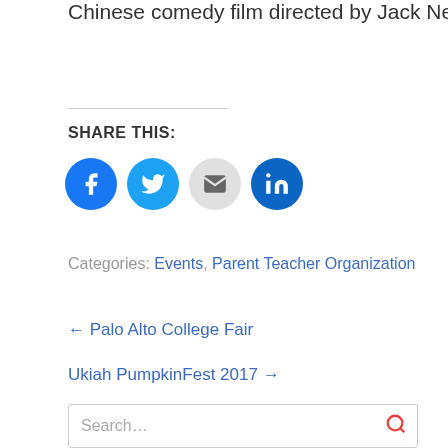Chinese comedy film directed by Jack Neo
SHARE THIS:
[Figure (infographic): Social share buttons: Facebook (blue circle), Twitter (light blue circle), Email (grey circle), LinkedIn (dark blue circle)]
Categories: Events, Parent Teacher Organization
← Palo Alto College Fair
Ukiah PumpkinFest 2017 →
Search...